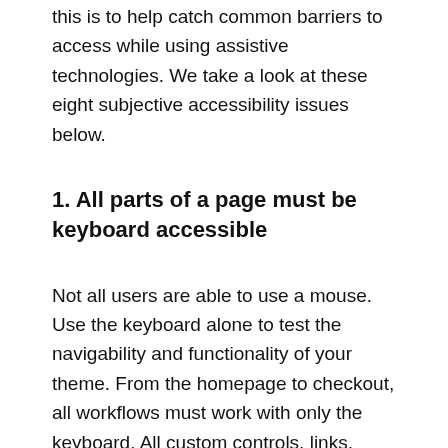this is to help catch common barriers to access while using assistive technologies. We take a look at these eight subjective accessibility issues below.
1. All parts of a page must be keyboard accessible
Not all users are able to use a mouse. Use the keyboard alone to test the navigability and functionality of your theme. From the homepage to checkout, all workflows must work with only the keyboard. All custom controls, links, buttons, and form inputs must be actionable.